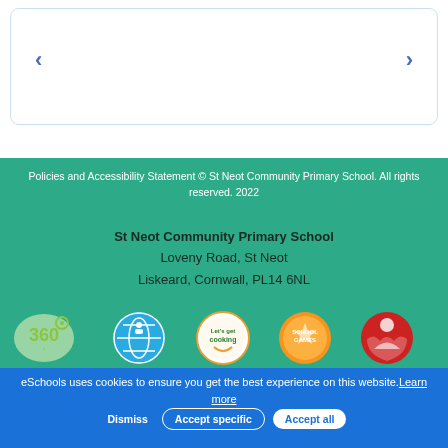[Figure (screenshot): Carousel navigation area with left and right arrow buttons on a white card with rounded border]
Policies and Accessibility Statement © St Neot Community Primary School. All rights reserved. 2022
St Neot Community Primary School
Loveny Road, St Neot
Liskeard, Cornwall, PL14 6NL
[Figure (infographic): Row of five award/accreditation badge logos: 360 degrees badge, blue globe/community badge, Let's Get Cooking badge, orange Schools Games badge, red badge]
eSchools uses cookies to ensure you get the best experience on this website. Learn more
Dismiss   Accept specific   Accept all